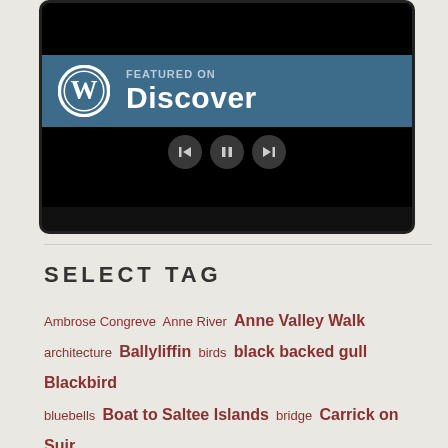[Figure (screenshot): WordPress 'Featured on Discover' widget screenshot inside a dark device frame with media controls (back, pause, forward) at the bottom]
SELECT TAG
Ambrose Congreve   Anne River   Anne Valley Walk   architecture   Ballyliffin   birds   black backed gull   Blackbird   bluebells   Boat to Saltee Islands   bridge   Carrick on Suir   castle   Christmas   Clonegam   Clonmel   Co